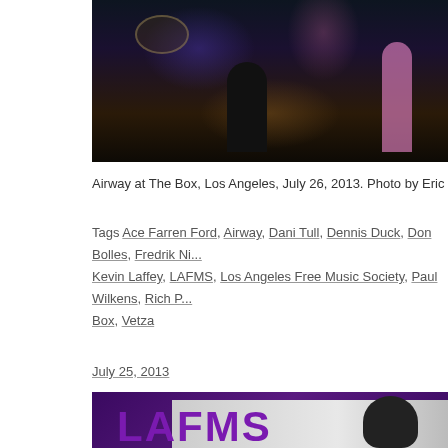[Figure (photo): Concert/stage photo showing musicians performing, dark venue with purple/blue stage lighting, drummer kit visible upper left, person in white shirt center, person in colorful dress right side]
Airway at The Box, Los Angeles, July 26, 2013. Photo by Eric Vau...
Tags Ace Farren Ford, Airway, Dani Tull, Dennis Duck, Don Bolles, Fredrik Ni..., Kevin Laffey, LAFMS, Los Angeles Free Music Society, Paul Wilkens, Rich P..., Box, Vetza
July 25, 2013
[Figure (photo): LAFMS logo/banner image with purple background and large LAFMS text in purple, with a person's head/hair silhouette visible on the right side]